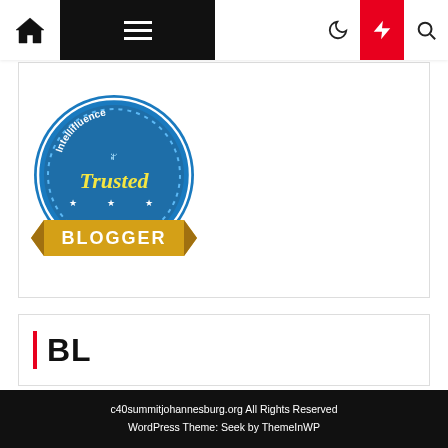Navigation bar with home, menu, moon, bolt, search icons
[Figure (logo): Intellifluence Trusted Blogger badge - circular blue badge with gold ribbon banner]
BL
TL
c40summitjohannesburg.org All Rights Reserved
WordPress Theme: Seek by ThemeInWP